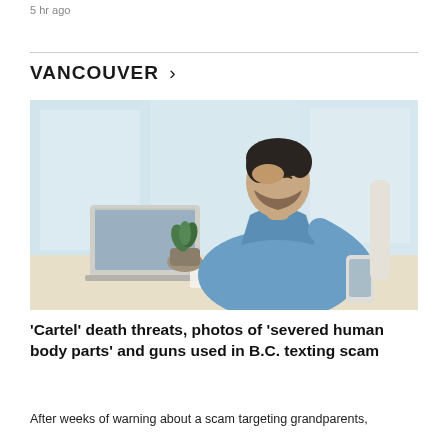5 hr ago
VANCOUVER >
[Figure (photo): A stressed man in a blue shirt sitting at a desk with a laptop, holding a phone and resting his head in his hand, with a small plant visible on the desk and a bright window in the background.]
'Cartel' death threats, photos of 'severed human body parts' and guns used in B.C. texting scam
After weeks of warning about a scam targeting grandparents,